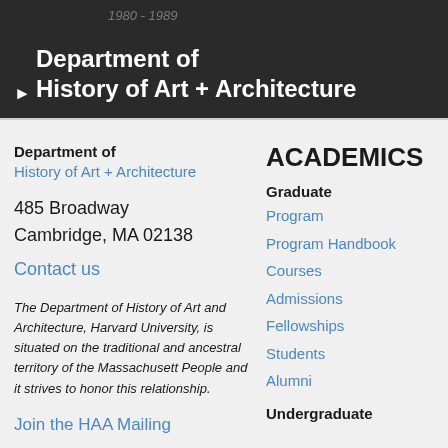Department of History of Art + Architecture
Department of
History of Art + Architecture
485 Broadway
Cambridge, MA 02138
Contact us
The Department of History of Art and Architecture, Harvard University, is situated on the traditional and ancestral territory of the Massachusett People and it strives to honor this relationship.
Join the HAA Mailing
ACADEMICS
Graduate
Program
Program Handbook
Courses
Admissions
Fellowships
Students
Alumni
Undergraduate